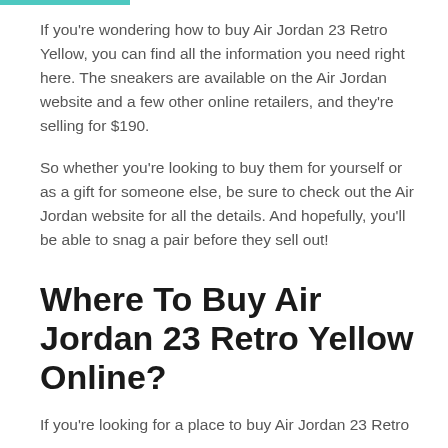If you're wondering how to buy Air Jordan 23 Retro Yellow, you can find all the information you need right here. The sneakers are available on the Air Jordan website and a few other online retailers, and they're selling for $190.
So whether you're looking to buy them for yourself or as a gift for someone else, be sure to check out the Air Jordan website for all the details. And hopefully, you'll be able to snag a pair before they sell out!
Where To Buy Air Jordan 23 Retro Yellow Online?
If you're looking for a place to buy Air Jordan 23 Retro